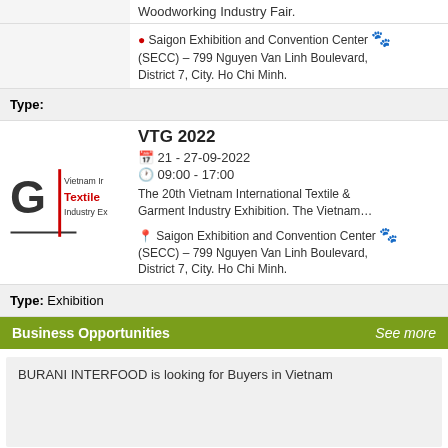Woodworking Industry Fair.
Saigon Exhibition and Convention Center (SECC) – 799 Nguyen Van Linh Boulevard, District 7, City. Ho Chi Minh.
Type:
[Figure (logo): Vietnam International Textile Industry Exhibition logo with dark G shape, red vertical line, and text]
VTG 2022
21 - 27-09-2022
09:00 - 17:00
The 20th Vietnam International Textile & Garment Industry Exhibition. The Vietnam…
Saigon Exhibition and Convention Center (SECC) – 799 Nguyen Van Linh Boulevard, District 7, City. Ho Chi Minh.
Type: Exhibition
Business Opportunities
See more
BURANI INTERFOOD is looking for Buyers in Vietnam
BURANI INTERFOOD is looking for Buyers in Vietnam